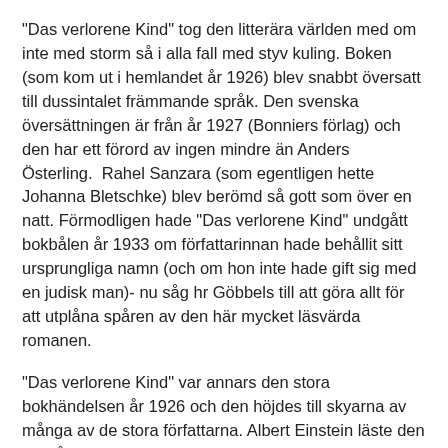"Das verlorene Kind" tog den litterära världen med om inte med storm så i alla fall med styv kuling. Boken (som kom ut i hemlandet år 1926) blev snabbt översatt till dussintalet främmande språk. Den svenska översättningen är från år 1927 (Bonniers förlag) och den har ett förord av ingen mindre än Anders Österling.  Rahel Sanzara (som egentligen hette Johanna Bletschke) blev berömd så gott som över en natt. Förmodligen hade "Das verlorene Kind" undgått bokbålen år 1933 om författarinnan hade behållit sitt ursprungliga namn (och om hon inte hade gift sig med en judisk man)- nu såg hr Göbbels till att göra allt för att utplåna spåren av den här mycket läsvärda romanen.
"Das verlorene Kind" var annars den stora bokhändelsen år 1926 och den höjdes till skyarna av många av de stora författarna. Albert Einstein läste den också och sa: "Das verlorene Kind scheint mir das beste Prosastück zu sein, das von einer deutschen Dichterin während der letzten Jahrhunderte geschrieben wurde.... Das Buch ist nähmlich auf der ethischen Höhe eines Tolstoi, eine sprachlich vollkommene Meisterleistung".